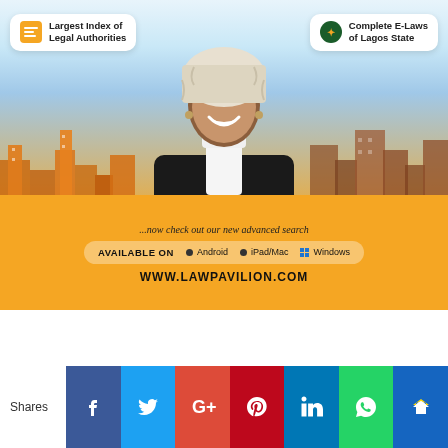[Figure (infographic): LawPavilion advertisement banner. Shows a female lawyer in black robe and white wig smiling, set against a city skyline background. Two badge cards: 'Largest Index of Legal Authorities' (top left) and 'Complete E-Laws of Lagos State' (top right). Yellow bottom section with tagline '...now check out our new advanced search', availability bar 'AVAILABLE ON Android iPad/Mac Windows', and website 'WWW.LAWPAVILION.COM'.]
Shares
[Figure (infographic): Social sharing icons row: Facebook (blue), Twitter (light blue), Google+ (red-orange), Pinterest (dark red), LinkedIn (blue), WhatsApp (green), Crown/Flipboard (dark blue).]